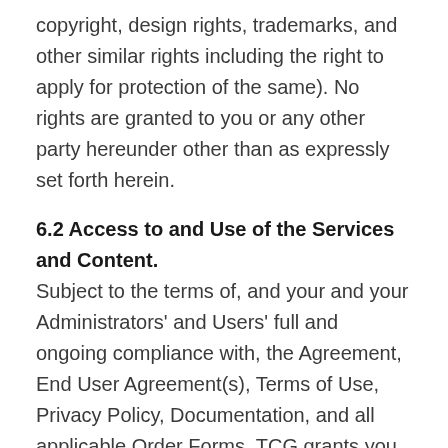copyright, design rights, trademarks, and other similar rights including the right to apply for protection of the same). No rights are granted to you or any other party hereunder other than as expressly set forth herein.
6.2 Access to and Use of the Services and Content.
Subject to the terms of, and your and your Administrators' and Users' full and ongoing compliance with, the Agreement, End User Agreement(s), Terms of Use, Privacy Policy, Documentation, and all applicable Order Forms, TCG grants you, and your Administrators and Users, a limited, non-exclusive, non-transferable, non-assignable, non-sublicensable, revocable right, during the